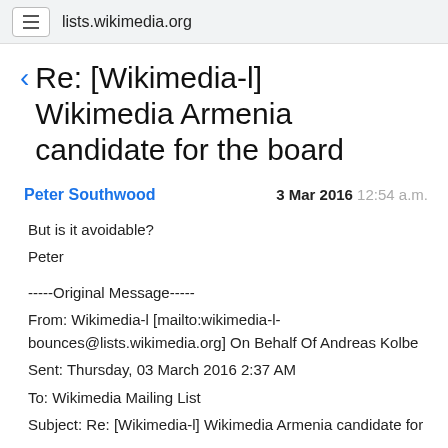lists.wikimedia.org
Re: [Wikimedia-l] Wikimedia Armenia candidate for the board
Peter Southwood     3 Mar 2016  12:54 a.m.
But is it avoidable?
Peter
-----Original Message-----
From: Wikimedia-l [mailto:wikimedia-l-bounces@lists.wikimedia.org] On Behalf Of Andreas Kolbe
Sent: Thursday, 03 March 2016 2:37 AM
To: Wikimedia Mailing List
Subject: Re: [Wikimedia-l] Wikimedia Armenia candidate for